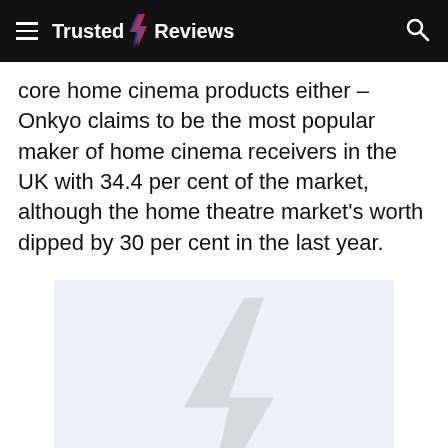Trusted Reviews
core home cinema products either – Onkyo claims to be the most popular maker of home cinema receivers in the UK with 34.4 per cent of the market, although the home theatre market's worth dipped by 30 per cent in the last year.
[Figure (other): Advertisement placeholder with Trusted Reviews lightning bolt logo watermark and the word ADVERTISEMENT in bold dark text on a light grey-blue background.]